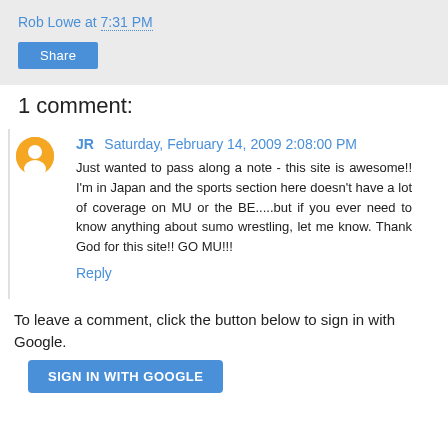Rob Lowe at 7:31 PM
Share
1 comment:
JR  Saturday, February 14, 2009 2:08:00 PM
Just wanted to pass along a note - this site is awesome!! I'm in Japan and the sports section here doesn't have a lot of coverage on MU or the BE.....but if you ever need to know anything about sumo wrestling, let me know. Thank God for this site!! GO MU!!!
Reply
To leave a comment, click the button below to sign in with Google.
SIGN IN WITH GOOGLE